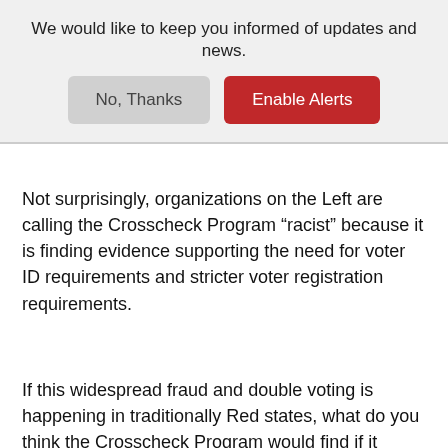We would like to keep you informed of updates and news.
No, Thanks
Enable Alerts
Not surprisingly, organizations on the Left are calling the Crosscheck Program “racist” because it is finding evidence supporting the need for voter ID requirements and stricter voter registration requirements.
If this widespread fraud and double voting is happening in traditionally Red states, what do you think the Crosscheck Program would find if it started combing through the voter rolls in states like California, New York, New Jersey…